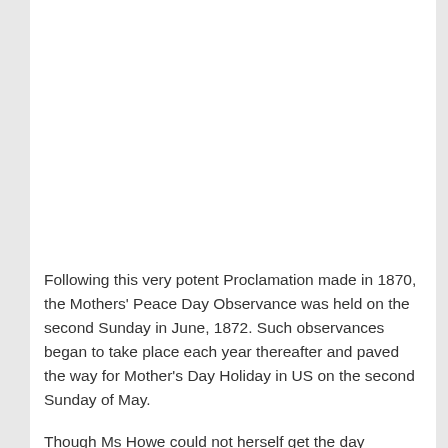Following this very potent Proclamation made in 1870, the Mothers' Peace Day Observance was held on the second Sunday in June, 1872. Such observances began to take place each year thereafter and paved the way for Mother's Day Holiday in US on the second Sunday of May.
Though Ms Howe could not herself get the day recognized as the official holiday, she is revered for her significant contributions towards the celebration of the day and for